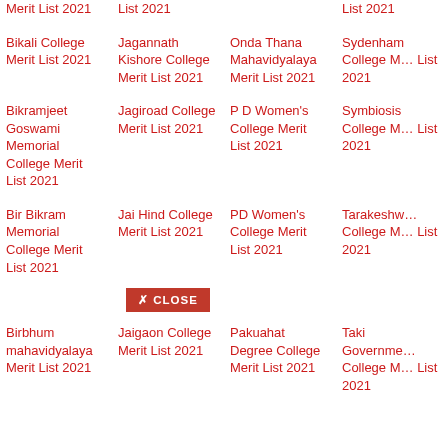Merit List 2021
List 2021
List 2021
Bikali College Merit List 2021
Jagannath Kishore College Merit List 2021
Onda Thana Mahavidyalaya Merit List 2021
Sydenham College Merit List 2021
Bikramjeet Goswami Memorial College Merit List 2021
Jagiroad College Merit List 2021
P D Women's College Merit List 2021
Symbiosis College Merit List 2021
Bir Bikram Memorial College Merit List 2021
Jai Hind College Merit List 2021
PD Women's College Merit List 2021
Tarakeshwar College Merit List 2021
Birbhum mahavidyalaya Merit List 2021
Jaigaon College Merit List 2021
Pakuahat Degree College Merit List 2021
Taki Government College Merit List 2021